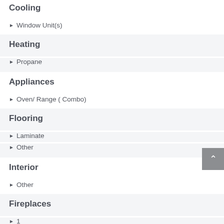Cooling
Window Unit(s)
Heating
Propane
Appliances
Oven/ Range ( Combo)
Flooring
Laminate
Other
Interior
Other
Fireplaces
1